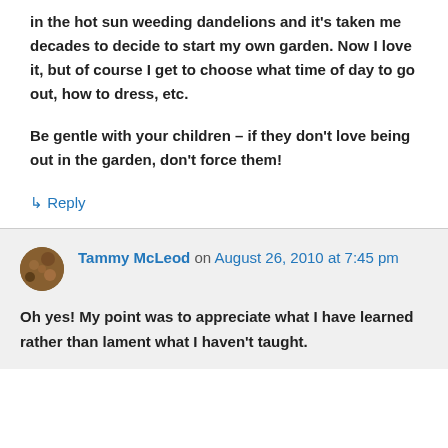in the hot sun weeding dandelions and it's taken me decades to decide to start my own garden. Now I love it, but of course I get to choose what time of day to go out, how to dress, etc.
Be gentle with your children – if they don't love being out in the garden, don't force them!
↳ Reply
Tammy McLeod on August 26, 2010 at 7:45 pm
Oh yes! My point was to appreciate what I have learned rather than lament what I haven't taught.